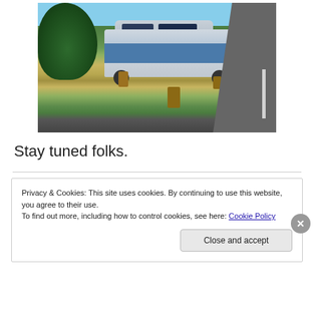[Figure (photo): A blue and white RV/motorhome parked in a grassy area beside a road, with trees and bushes in the background and wooden stumps in the foreground.]
Stay tuned folks.
Privacy & Cookies: This site uses cookies. By continuing to use this website, you agree to their use.
To find out more, including how to control cookies, see here: Cookie Policy
Close and accept